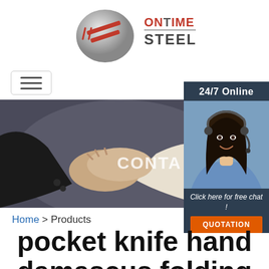[Figure (logo): OnTime Steel company logo with stylized steel blade graphic and red/gray text reading ONTIME STEEL]
[Figure (photo): Two people shaking hands in business attire, with partial text CONTA visible, representing a contact/business image]
[Figure (photo): 24/7 Online chat panel showing a smiling female customer service agent wearing a headset, with text Click here for free chat! and an orange QUOTATION button]
Home > Products
pocket knife hand damascus folding leather sheath